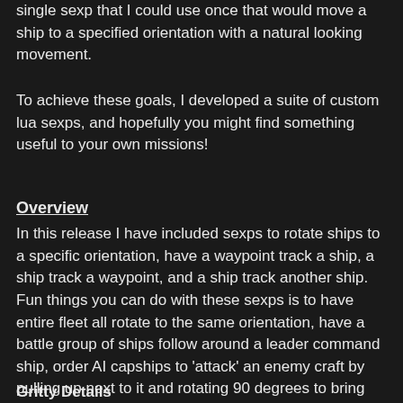single sexp that I could use once that would move a ship to a specified orientation with a natural looking movement.
To achieve these goals, I developed a suite of custom lua sexps, and hopefully you might find something useful to your own missions!
Overview
In this release I have included sexps to rotate ships to a specific orientation, have a waypoint track a ship, a ship track a waypoint, and a ship track another ship. Fun things you can do with these sexps is to have entire fleet all rotate to the same orientation, have a battle group of ships follow around a leader command ship, order AI capships to 'attack' an enemy craft by pulling up next to it and rotating 90 degrees to bring broadsides to bear, ordering a ship track a target orientation, and many other things.
Gritty Details